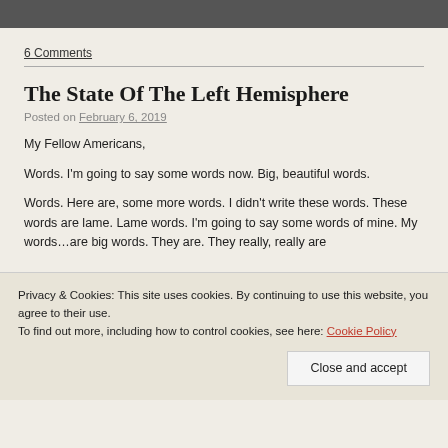[Figure (photo): Partial image at top of page, dark/grey tones]
6 Comments
The State Of The Left Hemisphere
Posted on February 6, 2019
My Fellow Americans,
Words. I'm going to say some words now. Big, beautiful words.
Words. Here are, some more words. I didn't write these words. These words are lame. Lame words. I'm going to say some words of mine. My words…are big words. They are. They really, really are
Privacy & Cookies: This site uses cookies. By continuing to use this website, you agree to their use.
To find out more, including how to control cookies, see here: Cookie Policy
Close and accept